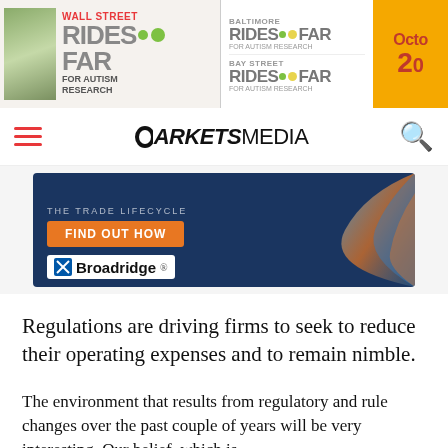[Figure (other): Wall Street Rides FAR for Autism Research banner ad with Baltimore Rides FAR and Bay Street Rides FAR logos, and an orange October date panel]
MARKETS MEDIA
[Figure (other): Broadridge advertisement banner with dark blue background, 'THE TRADE LIFECYCLE' text, orange 'FIND OUT HOW' button, and Broadridge logo]
Regulations are driving firms to seek to reduce their operating expenses and to remain nimble.
The environment that results from regulatory and rule changes over the past couple of years will be very interesting. Our belief, which is